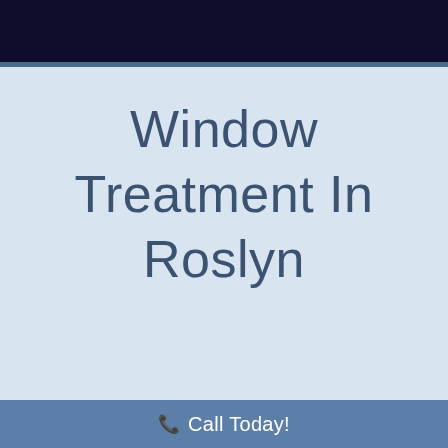Window Treatment In Roslyn
7 Tips to Simplify
Call Today!